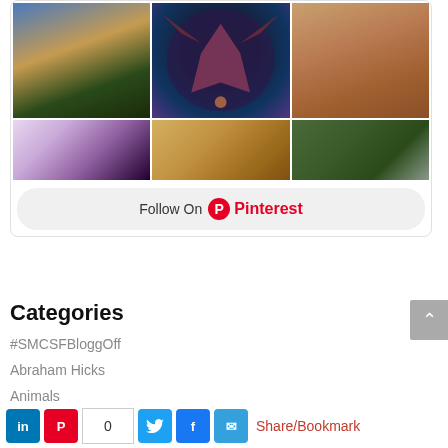[Figure (screenshot): Pinterest widget showing a grid of fantasy/dragon images with a purple crystal heart, golden artifact, and axolotl creature, with a Follow On Pinterest button]
Categories
#SMCSFBloggOff
Abraham Hicks
Animals
Art